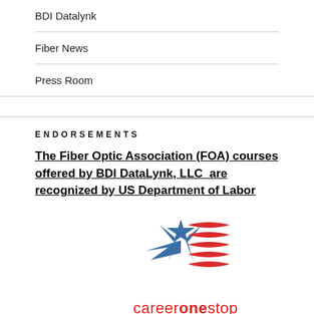BDI Datalynk
Fiber News
Press Room
ENDORSEMENTS
The Fiber Optic Association (FOA) courses offered by BDI DataLynk, LLC  are recognized by US Department of Labor
[Figure (logo): CareerOneStop logo — a blue star with red wavy stripes forming a flag shape, with the text 'careeronestop' below in red]